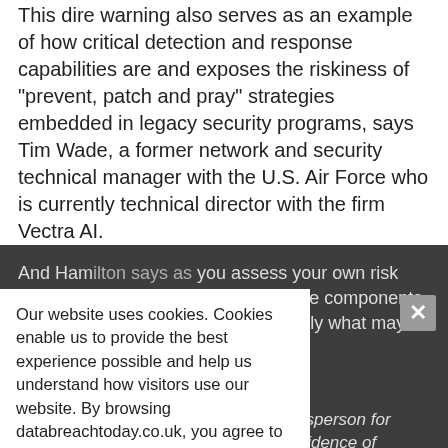This dire warning also serves as an example of how critical detection and response capabilities are and exposes the riskiness of "prevent, patch and pray" strategies embedded in legacy security programs, says Tim Wade, a former network and security technical manager with the U.S. Air Force who is currently technical director with the firm Vectra AI.
And Ham[ilton says as] you assess your own risk and threat model, please consider the components of the software you use and especially what may be publicly accessible.
+++
Update [5:10 p.m., Dec. 10]: A spokesperson for Cloudflare tells ISMG: "We have no evidence of exploitation of us. We responded quickly to evaluate all potential areas of risk and updated our software to prevent attacks, and
Our website uses cookies. Cookies enable us to provide the best experience possible and help us understand how visitors use our website. By browsing databreachtoday.co.uk, you agree to our use of cookies.